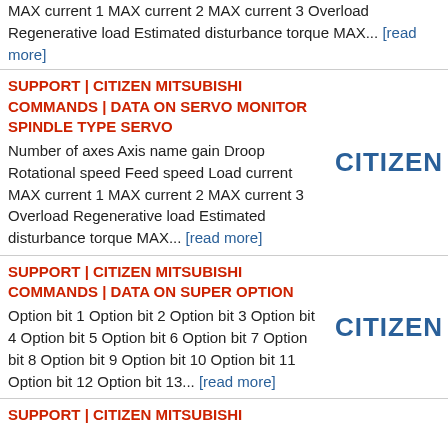MAX current 1 MAX current 2 MAX current 3 Overload Regenerative load Estimated disturbance torque MAX... [read more]
SUPPORT | CITIZEN MITSUBISHI COMMANDS | DATA ON SERVO MONITOR SPINDLE TYPE SERVO
Number of axes Axis name gain Droop Rotational speed Feed speed Load current MAX current 1 MAX current 2 MAX current 3 Overload Regenerative load Estimated disturbance torque MAX... [read more]
SUPPORT | CITIZEN MITSUBISHI COMMANDS | DATA ON SUPER OPTION
Option bit 1 Option bit 2 Option bit 3 Option bit 4 Option bit 5 Option bit 6 Option bit 7 Option bit 8 Option bit 9 Option bit 10 Option bit 11 Option bit 12 Option bit 13... [read more]
SUPPORT | CITIZEN MITSUBISHI